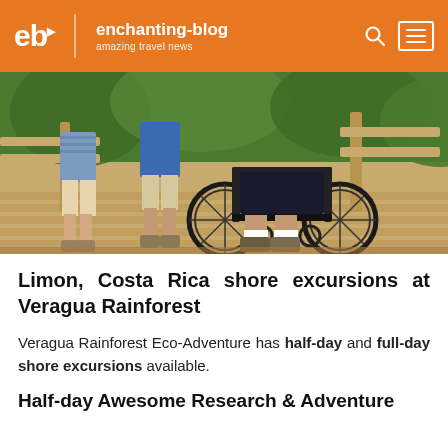eb | enchanting-blog | amazing travel news
[Figure (photo): People on a wooden boardwalk, including a person in a wheelchair, surrounded by green trees. Close-up view of lower bodies and wheelchair wheels.]
Limon, Costa Rica shore excursions at Veragua Rainforest
Veragua Rainforest Eco-Adventure has half-day and full-day shore excursions available.
Half-day Awesome Research & Adventure